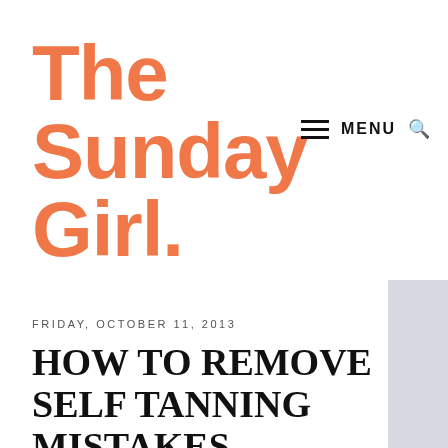[Figure (logo): The Sunday Girl blog logo in orange/salmon color]
≡ MENU 🔍
FRIDAY, OCTOBER 11, 2013
HOW TO REMOVE SELF TANNING MISTAKES
[Figure (photo): Partial photo visible on right edge]